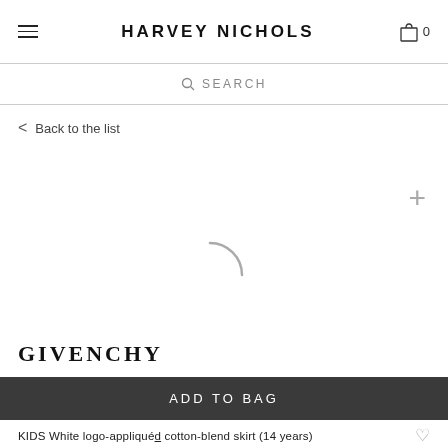HARVEY NICHOLS
SEARCH
Back to the list
[Figure (screenshot): Loading spinner arc (partial circle) in grey, indicating image is loading. A grey plus icon is in the upper right of the image area.]
GIVENCHY
ADD TO BAG
KIDS White logo-appliquéd cotton-blend skirt (14 years)